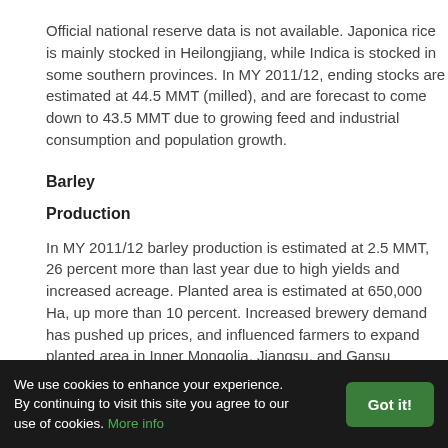Official national reserve data is not available. Japonica rice is mainly stocked in Heilongjiang, while Indica is stocked in some southern provinces. In MY 2011/12, ending stocks are estimated at 44.5 MMT (milled), and are forecast to come down to 43.5 MMT due to growing feed and industrial consumption and population growth.
Barley
Production
In MY 2011/12 barley production is estimated at 2.5 MMT, 26 percent more than last year due to high yields and increased acreage. Planted area is estimated at 650,000 Ha, up more than 10 percent. Increased brewery demand has pushed up prices, and influenced farmers to expand planted area in Inner Mongolia, Jiangsu, and Gansu provinces. MY 2012/13 production is forecast to rise slightly to 2.6 MMT, assuming average yields and continued area expansion on strong demand. China does not consider barley to be an important feed grain, and the crop receives no financial or other
We use cookies to enhance your experience. By continuing to visit this site you agree to our use of cookies. More info